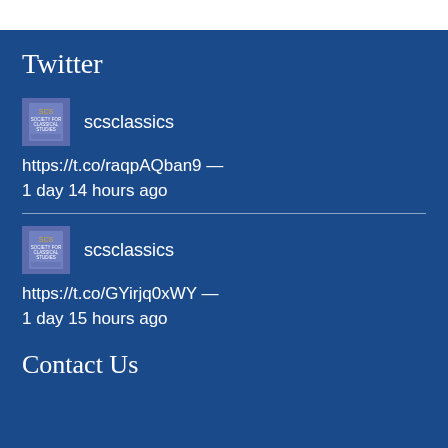Twitter
scsclassics
https://t.co/raqpAQban9 — 1 day 14 hours ago
scsclassics
https://t.co/GYirjq0xWY — 1 day 15 hours ago
Contact Us